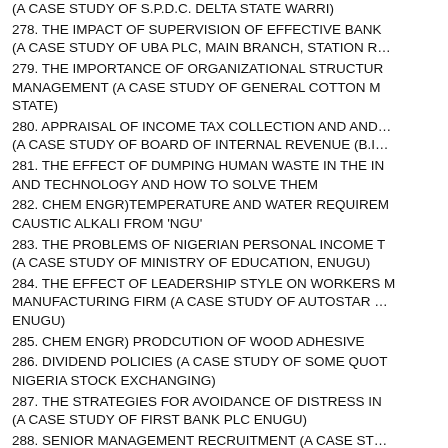(A CASE STUDY OF S.P.D.C. DELTA STATE WARRI)
278. THE IMPACT OF SUPERVISION OF EFFECTIVE BANK (A CASE STUDY OF UBA PLC, MAIN BRANCH, STATION R…
279. THE IMPORTANCE OF ORGANIZATIONAL STRUCTURE MANAGEMENT (A CASE STUDY OF GENERAL COTTON M… STATE)
280. APPRAISAL OF INCOME TAX COLLECTION AND AND… (A CASE STUDY OF BOARD OF INTERNAL REVENUE (B.I…
281. THE EFFECT OF DUMPING HUMAN WASTE IN THE IN… AND TECHNOLOGY AND HOW TO SOLVE THEM
282. CHEM ENGR)TEMPERATURE AND WATER REQUIREM… CAUSTIC ALKALI FROM 'NGU'
283. THE PROBLEMS OF NIGERIAN PERSONAL INCOME T… (A CASE STUDY OF MINISTRY OF EDUCATION, ENUGU)
284. THE EFFECT OF LEADERSHIP STYLE ON WORKERS M… MANUFACTURING FIRM (A CASE STUDY OF AUTOSTAR … ENUGU)
285. CHEM ENGR) PRODCUTION OF WOOD ADHESIVE
286. DIVIDEND POLICIES (A CASE STUDY OF SOME QUOT… NIGERIA STOCK EXCHANGING)
287. THE STRATEGIES FOR AVOIDANCE OF DISTRESS IN… (A CASE STUDY OF FIRST BANK PLC ENUGU)
288. SENIOR MANAGEMENT RECRUITMENT (A CASE ST…